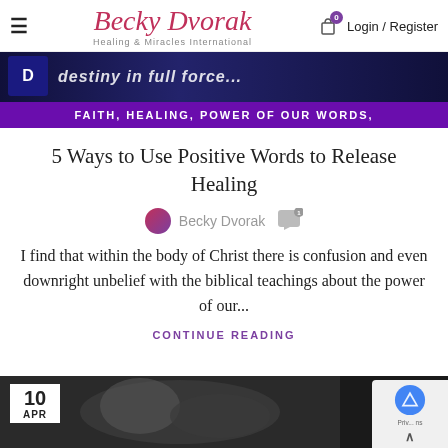Becky Dvorak — Healing & Miracles International | Login / Register
[Figure (screenshot): Dark banner image with overlaid italic text and small icon on the left]
FAITH, HEALING, POWER OF OUR WORDS,
5 Ways to Use Positive Words to Release Healing
Becky Dvorak
I find that within the body of Christ there is confusion and even downright unbelief with the biblical teachings about the power of our...
CONTINUE READING
[Figure (photo): Black and white photo of clasped or folded hands, partially visible at the bottom of the page, with a date badge showing 10 APR]